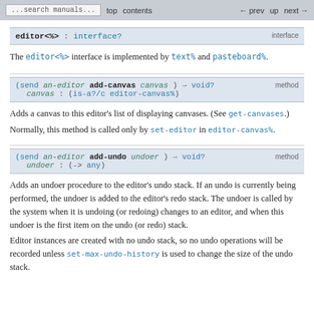...search manuals...   top   contents   ← prev   up   next →
editor<%> : interface?   interface
The editor<%> interface is implemented by text% and pasteboard%.
(send an-editor add-canvas canvas) → void?   canvas : (is-a?/c editor-canvas%)   method
Adds a canvas to this editor's list of displaying canvases. (See get-canvases.)
Normally, this method is called only by set-editor in editor-canvas%.
(send an-editor add-undo undoer) → void?   undoer : (-> any)   method
Adds an undoer procedure to the editor's undo stack. If an undo is currently being performed, the undoer is added to the editor's redo stack. The undoer is called by the system when it is undoing (or redoing) changes to an editor, and when this undoer is the first item on the undo (or redo) stack.
Editor instances are created with no undo stack, so no undo operations will be recorded unless set-max-undo-history is used to change the size of the undo stack.